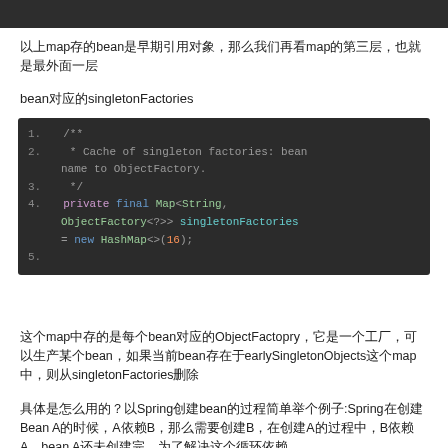[Figure (screenshot): Dark code editor top bar (cropped from previous section)]
以上map存的bean是早期引用对象，那么我们再看map的第三层，也就是最外面一层
bean对应的singletonFactories
[Figure (screenshot): Code snippet showing Java field declaration: private final Map<String, ObjectFactory<?>> singletonFactories = new HashMap<>(16); with Javadoc comment 'Cache of singleton factories: bean name to ObjectFactory.']
这个map中存的是每个bean对应的ObjectFactopry，它是一个工厂，可以生产某个bean，如果当前bean存在于earlySingletonObjects这个map中，则从singletonFactories删除
具体是怎么用的？以Spring创建bean的过程简单举个例子:Spring在创建Bean A的时候，A依赖B，那么需要创建B，在创建A的过程中，B依赖A，bean A还未创建完，为了解决这个循环依赖，